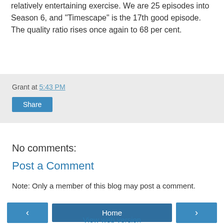relatively entertaining exercise. We are 25 episodes into Season 6, and "Timescape" is the 17th good episode. The quality ratio rises once again to 68 per cent.
Grant at 5:43 PM
Share
No comments:
Post a Comment
Note: Only a member of this blog may post a comment.
Home
View web version
Powered by Blogger.